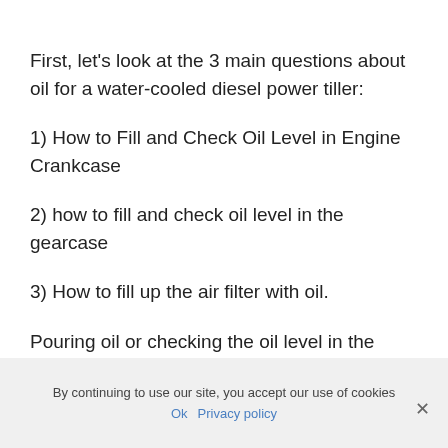First, let's look at the 3 main questions about oil for a water-cooled diesel power tiller:
1) How to Fill and Check Oil Level in Engine Crankcase
2) how to fill and check oil level in the gearcase
3) How to fill up the air filter with oil.
Pouring oil or checking the oil level in the engine crankcase
By continuing to use our site, you accept our use of cookies
Ok  Privacy policy